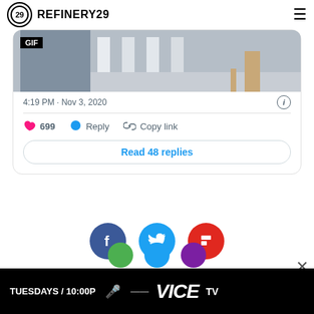REFINERY29
[Figure (screenshot): GIF thumbnail showing a scene with white structures and a person in khaki pants, with a black GIF label overlay]
4:19 PM · Nov 3, 2020
699  Reply  Copy link
Read 48 replies
[Figure (infographic): Three social share icon circles: Facebook (dark blue), Twitter (light blue), Flipboard (red)]
[Figure (infographic): Advertisement banner: TUESDAYS / 10:00P with VICE TV logo on black background]